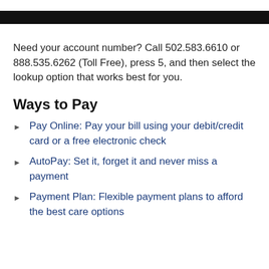Need your account number? Call 502.583.6610 or 888.535.6262 (Toll Free), press 5, and then select the lookup option that works best for you.
Ways to Pay
Pay Online: Pay your bill using your debit/credit card or a free electronic check
AutoPay: Set it, forget it and never miss a payment
Payment Plan: Flexible payment plans to afford the best care options